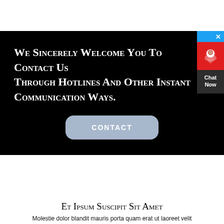We Sincerely Welcome You To Contact Us Through Hotlines And Other Instant Communication Ways.
[Figure (other): Contact button — a rounded rectangle button with light blue background and white uppercase text reading CONTACT]
[Figure (other): Chat Now widget on the right side: a close button (blue with X), a red box with a customer service icon, and a dark grey box with text Chat Now]
Et Ipsum Suscipit Sit Amet
Molestie dolor blandit mauris porta quam erat ut laoreet velit